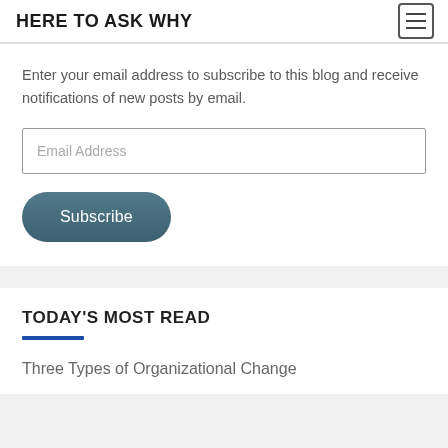HERE TO ASK WHY
Enter your email address to subscribe to this blog and receive notifications of new posts by email.
Email Address
Subscribe
TODAY'S MOST READ
Three Types of Organizational Change